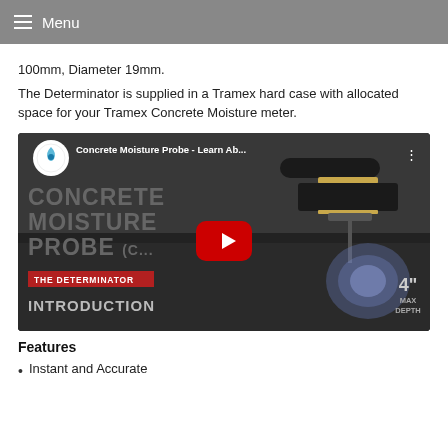Menu
100mm, Diameter 19mm.
The Determinator is supplied in a Tramex hard case with allocated space for your Tramex Concrete Moisture meter.
[Figure (screenshot): YouTube video thumbnail for 'Concrete Moisture Probe - Learn Ab...' showing The Determinator product with text CONCRETE MOISTURE PROBE (C... and THE DETERMINATOR INTRODUCTION, 4" MAX DEPTH label, red play button, and glowing concrete image.]
Features
Instant and Accurate